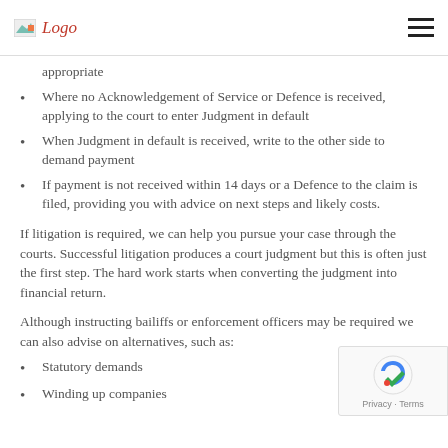Logo
appropriate
Where no Acknowledgement of Service or Defence is received, applying to the court to enter Judgment in default
When Judgment in default is received, write to the other side to demand payment
If payment is not received within 14 days or a Defence to the claim is filed, providing you with advice on next steps and likely costs.
If litigation is required, we can help you pursue your case through the courts. Successful litigation produces a court judgment but this is often just the first step. The hard work starts when converting the judgment into financial return.
Although instructing bailiffs or enforcement officers may be required we can also advise on alternatives, such as:
Statutory demands
Winding up companies